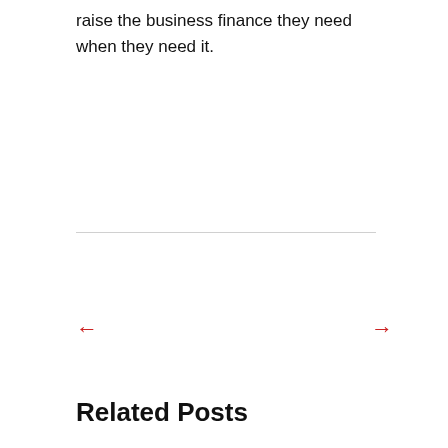raise the business finance they need when they need it.
Related Posts